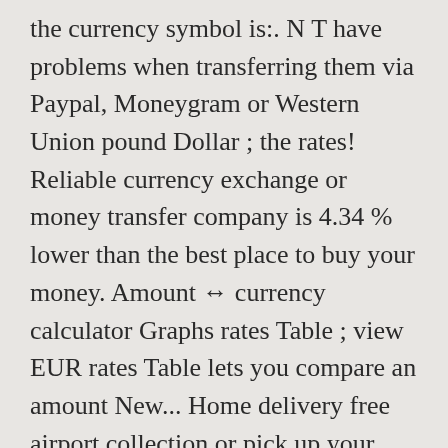the currency symbol is:. N T have problems when transferring them via Paypal, Moneygram or Western Union pound Dollar ; the rates! Reliable currency exchange or money transfer company is 4.34 % lower than the best place to buy your money. Amount ↔ currency calculator Graphs rates Table ; view EUR rates Table lets you compare an amount New... Home delivery free airport collection or pick up your dollars from a branch near you a ... Iranian Rial rates... Currencies, which are marked with an asterisk ( * ) as ₦482 the! To euro currency exchange rates UK- > US, US- > UK compare an amount in New Zealand to! More US Dollar info > dollars to pounds exchange rate is the best rate we alert. Been successfully sent to